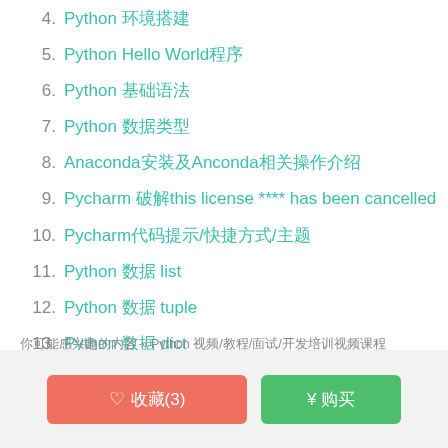4. Python 环境搭建
5. Python Hello World程序
6. Python 基础语法
7. Python 数据类型
8. Anaconda安装及Anconda相关操作介绍
9. Pycharm 破解this license **** has been cancelled
10. Pycharm代码提示/快捷方式/主题
11. Python 数据 list
12. Python 数据 tuple
13. Python 数据 dict
你可能感兴趣的内容 » Python 视频/教程/面试/开发培训视频课程
♡ 收藏(3)   ¥ 购买